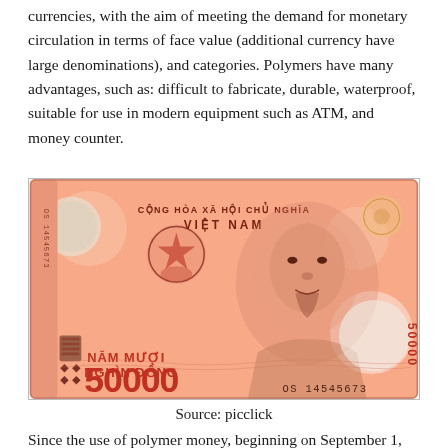currencies, with the aim of meeting the demand for monetary circulation in terms of face value (additional currency have large denominations), and categories. Polymers have many advantages, such as: difficult to fabricate, durable, waterproof, suitable for use in modern equipment such as ATM, and money counter.
[Figure (photo): A Vietnamese 50,000 Dong polymer banknote (OS 14545673) showing Ho Chi Minh portrait on the right, the Vietnamese coat of arms on the left, text reading CONG HOA XA HOI CHU NGHIA VIET NAM, NAM MUOI NGHIN DONG, and the serial number OS 14545673. The note is predominantly pink/salmon colored.]
Source: picclick
Since the use of polymer money, beginning on September 1,